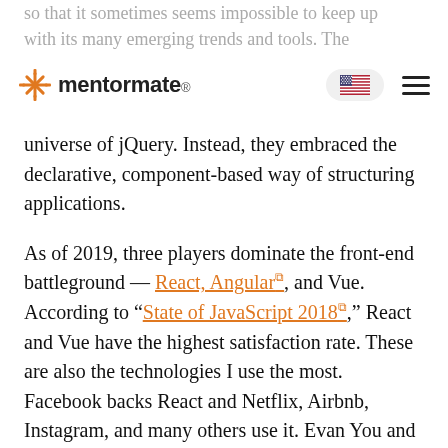mentormate (navigation bar with US flag and hamburger menu)
universe of jQuery. Instead, they embraced the declarative, component-based way of structuring applications.
As of 2019, three players dominate the front-end battleground — React, Angular, and Vue. According to “State of JavaScript 2018,” React and Vue have the highest satisfaction rate. These are also the technologies I use the most. Facebook backs React and Netflix, Airbnb, Instagram, and many others use it. Evan You and a small core team created Vue and You still backs it. Alibaba, Wizzair GitLab, and others use it.